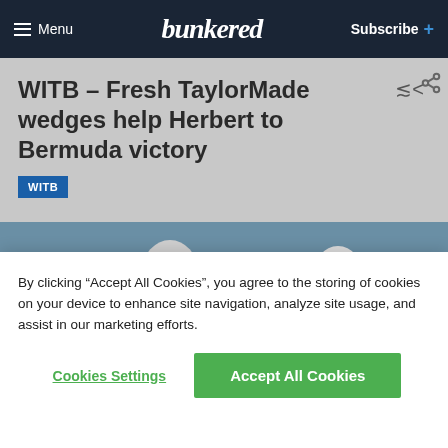Menu | bunkered | Subscribe +
WITB – Fresh TaylorMade wedges help Herbert to Bermuda victory
WITB
[Figure (photo): Two golfers on a course, one in a pink shirt and black cap (caddie), the other in a blue checked shirt and white cap, against a grey-blue sky]
By clicking "Accept All Cookies", you agree to the storing of cookies on your device to enhance site navigation, analyze site usage, and assist in our marketing efforts.
Cookies Settings | Accept All Cookies